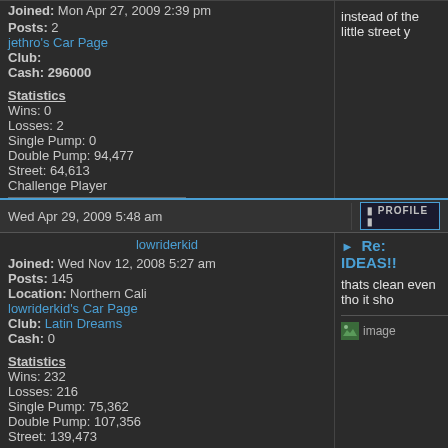Joined: Mon Apr 27, 2009 2:39 pm
Posts: 2
jethro's Car Page
Club:
Cash: 296000
instead of the little street y
Statistics
Wins: 0
Losses: 2
Single Pump: 0
Double Pump: 94,477
Street: 64,613
Challenge Player
Wed Apr 29, 2009 5:48 am
PROFILE
lowriderkid
Re: IDEAS!!
thats clean even tho it sho
Joined: Wed Nov 12, 2008 5:27 am
Posts: 145
Location: Northern Cali
lowriderkid's Car Page
Club: Latin Dreams
Cash: 0
Statistics
Wins: 232
Losses: 216
Single Pump: 75,362
Double Pump: 107,356
Street: 139,473
[Figure (screenshot): Broken image placeholder for lowriderkid's post]